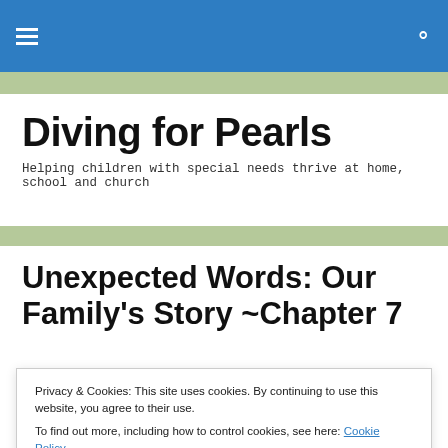Diving for Pearls [hamburger menu] [search icon]
Diving for Pearls
Helping children with special needs thrive at home, school and church
Unexpected Words: Our Family's Story ~Chapter 7
The resident, Dr. Jason Hoaglund, came in to check on
Privacy & Cookies: This site uses cookies. By continuing to use this website, you agree to their use.
To find out more, including how to control cookies, see here: Cookie Policy
Close and accept